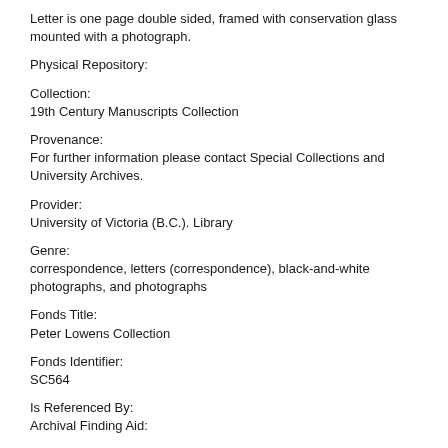Letter is one page double sided, framed with conservation glass mounted with a photograph.
Physical Repository:
Collection:
19th Century Manuscripts Collection
Provenance:
For further information please contact Special Collections and University Archives.
Provider:
University of Victoria (B.C.). Library
Genre:
correspondence, letters (correspondence), black-and-white photographs, and photographs
Fonds Title:
Peter Lowens Collection
Fonds Identifier:
SC564
Is Referenced By:
Archival Finding Aid: